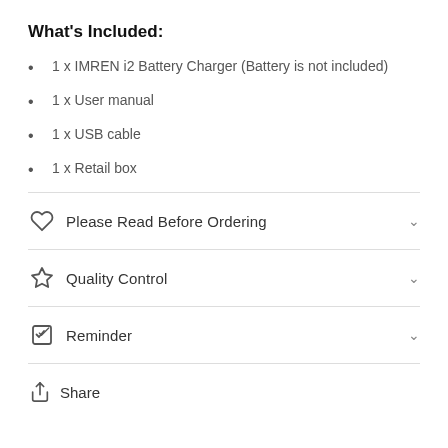What's Included:
1 x IMREN i2 Battery Charger (Battery is not included)
1 x User manual
1 x USB cable
1 x Retail box
Please Read Before Ordering
Quality Control
Reminder
Share